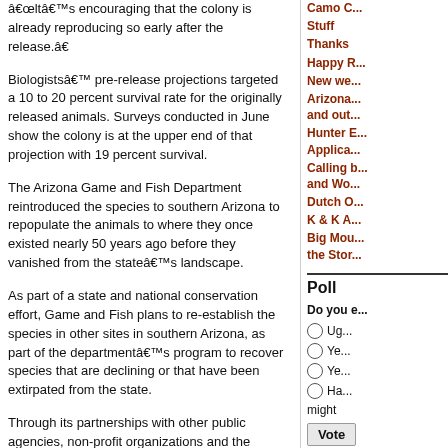“It’s encouraging that the colony is already reproducing so early after the release.”
Biologists’ pre-release projections targeted a 10 to 20 percent survival rate for the originally released animals. Surveys conducted in June show the colony is at the upper end of that projection with 19 percent survival.
The Arizona Game and Fish Department reintroduced the species to southern Arizona to repopulate the animals to where they once existed nearly 50 years ago before they vanished from the state’s landscape.
As part of a state and national conservation effort, Game and Fish plans to re-establish the species in other sites in southern Arizona, as part of the department’s program to recover species that are declining or that have been extirpated from the state.
Through its partnerships with other public agencies, non-profit organizations and the science community, the Arizona Game and Fish Department’s wildlife recovery program aims to prevent species from becoming endangered and conserve them in a more cost-effective manner. State-level involvement provides closer oversight of wildlife species on a day-to-day basis. Specific emphasis is placed on identifying and managing the wildlife and habitat of greatest conservation need, or those species that are no
Camo C...
Stuff
Thanks
Happy R...
New we...
Arizona... and out...
Hunter E... Applica...
Calling b... and Wo...
Dutch O...
K & K A...
Big Mou... the Stor...
Poll
Do you e...
Ug...
Ye...
Ye...
Ha... might